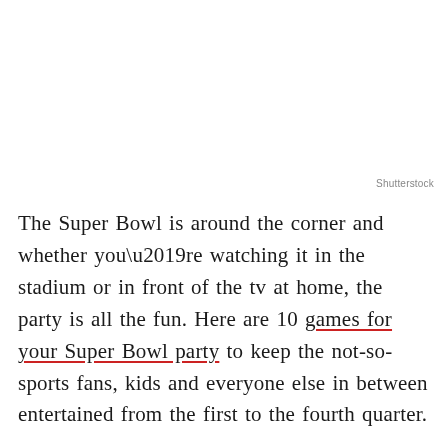Shutterstock
The Super Bowl is around the corner and whether you’re watching it in the stadium or in front of the tv at home, the party is all the fun. Here are 10 games for your Super Bowl party to keep the not-so-sports fans, kids and everyone else in between entertained from the first to the fourth quarter.